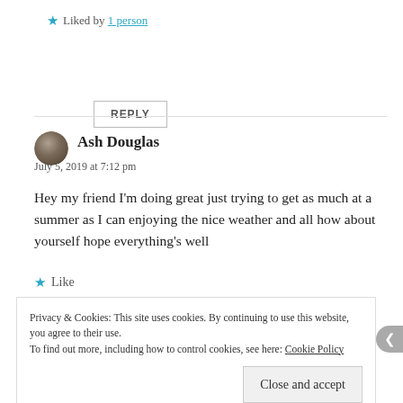★ Liked by 1 person
REPLY
Ash Douglas
July 5, 2019 at 7:12 pm
Hey my friend I'm doing great just trying to get as much at a summer as I can enjoying the nice weather and all how about yourself hope everything's well
★ Like
Privacy & Cookies: This site uses cookies. By continuing to use this website, you agree to their use.
To find out more, including how to control cookies, see here: Cookie Policy
Close and accept